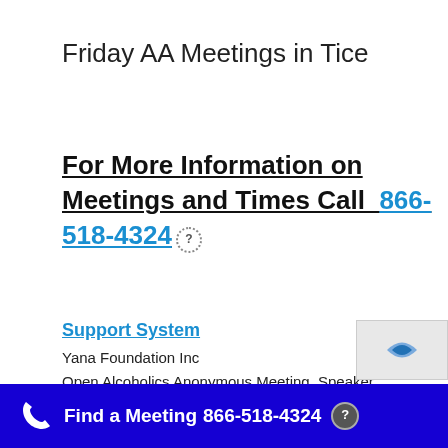Friday AA Meetings in Tice
For More Information on Meetings and Times Call  866-518-4324 ?
Support System
Yana Foundation Inc
Open Alcoholics Anonymous Meeting, Speaker Meeting, Wheelchair Access
3.82 miles from the center of Tice, FL
Find a Meeting  866-518-4324 ?